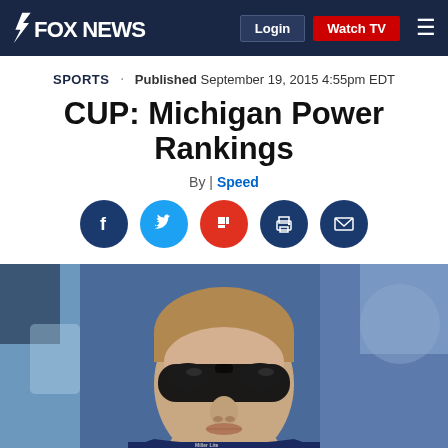FOX NEWS — Login | Watch TV
SPORTS · Published September 19, 2015 4:55pm EDT
CUP: Michigan Power Rankings
By | Speed
[Figure (other): Social sharing icons: Facebook, Twitter, Flipboard, Print, Email]
[Figure (photo): Close-up photo of a young male NASCAR driver wearing dark wraparound sunglasses and a navy blue racing suit with sponsor logos including Miller Lite]